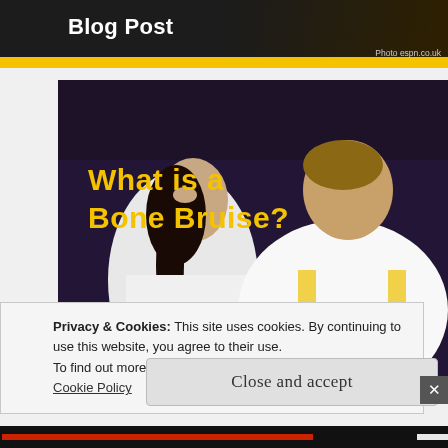Blog Post
[Figure (photo): A football player wearing a Pittsburgh Steelers jersey with number 7 sits on the sideline looking injured, attended by a medical trainer in a white polo shirt. Yellow text overlay reads 'What is a Bone Bruise?' on a dark background.]
Privacy & Cookies: This site uses cookies. By continuing to use this website, you agree to their use.
To find out more, including how to control cookies, see here:
Cookie Policy
Close and accept